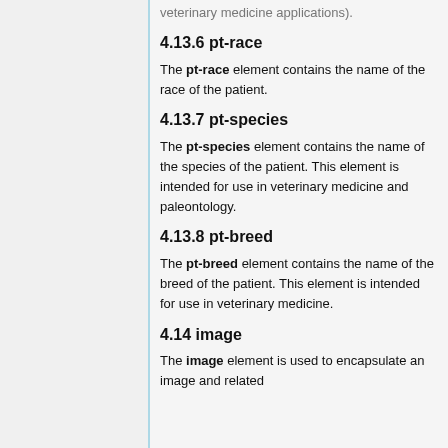veterinary medicine applications).
4.13.6 pt-race
The pt-race element contains the name of the race of the patient.
4.13.7 pt-species
The pt-species element contains the name of the species of the patient. This element is intended for use in veterinary medicine and paleontology.
4.13.8 pt-breed
The pt-breed element contains the name of the breed of the patient. This element is intended for use in veterinary medicine.
4.14 image
The image element is used to encapsulate an image and related